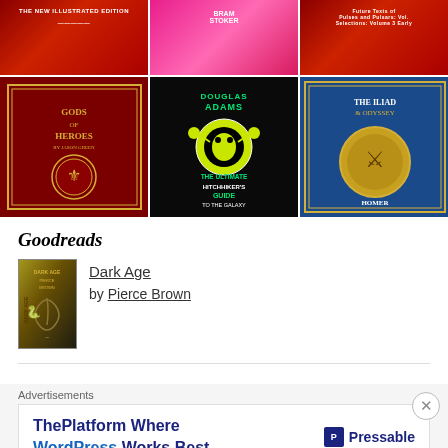[Figure (photo): 2x3 grid of book cover photographs. Top row: three red/pink book covers. Bottom row: 'Gods and Heroes' red ornate book, 'The Ultimate Hitchhiker's Guide to the Galaxy' by Douglas Adams (black cover with green alien), 'The Iliad and Odyssey' by Homer (blue ornate cover). Books are photographed on plates/wooden surfaces with natural backgrounds.]
Goodreads
[Figure (photo): Book cover thumbnail for 'Dark Age' by Pierce Brown - dark olive/gold cover with snake design]
Dark Age
by Pierce Brown
Advertisements
[Figure (screenshot): Advertisement banner: 'ThePlatform Where WordPress Works Best' with Pressable logo on right side. Blue text on white background.]